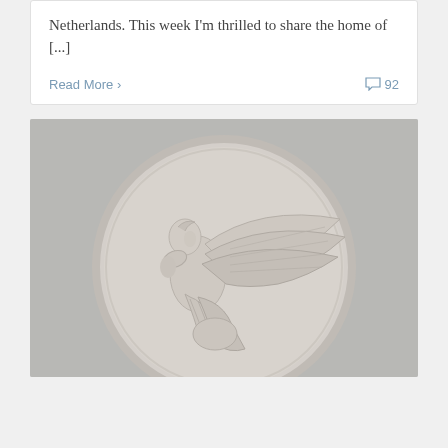Netherlands. This week I'm thrilled to share the home of [...]
Read More >
92
[Figure (photo): A circular marble or plaster bas-relief medallion depicting a winged angel figure (cherub or putto) in a bowing or kneeling pose, with large detailed wings spread to the right, against a light gray background.]